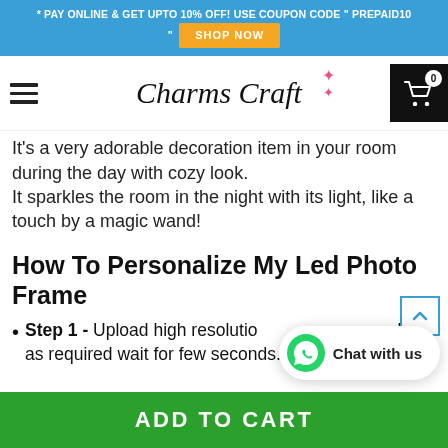* PAY ONLINE & GET UPTO 10% OFF! USE COUPON CODE " PREPAID10 " SHOP NOW
[Figure (logo): Charms Craft brand logo with hamburger menu and cart icon showing 0 items]
It's a very adorable decoration item in your room during the day with cozy look. It sparkles the room in the night with its light, like a touch by a magic wand!
How To Personalize My Led Photo Frame
Step 1 - Upload high resolution photo on our website as required wait for few seconds.
[Figure (screenshot): Chat with us WhatsApp widget button]
ADD TO CART